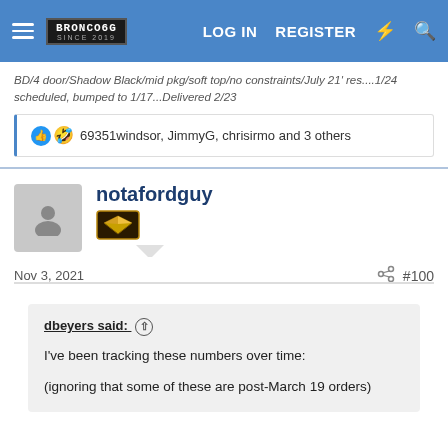BRONCO6G.COM | LOG IN | REGISTER
BD/4 door/Shadow Black/mid pkg/soft top/no constraints/July 21' res....1/24 scheduled, bumped to 1/17...Delivered 2/23
69351windsor, JimmyG, chrisirmo and 3 others
notafordguy
Nov 3, 2021  #100
dbeyers said:
I've been tracking these numbers over time:
(ignoring that some of these are post-March 19 orders)